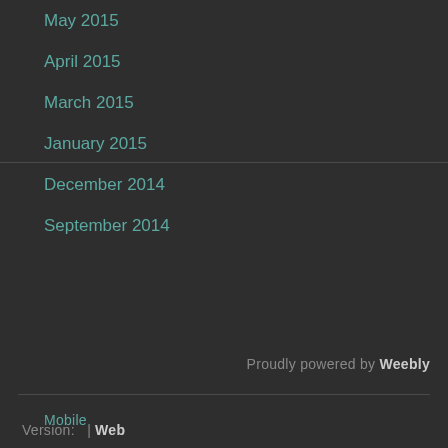May 2015
April 2015
March 2015
January 2015
December 2014
September 2014
Proudly powered by Weebly
Version:  Mobile | Web